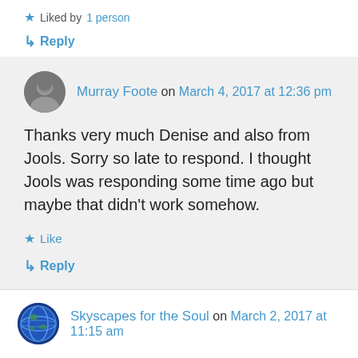★ Liked by 1 person
↳ Reply
Murray Foote on March 4, 2017 at 12:36 pm
Thanks very much Denise and also from Jools. Sorry so late to respond. I thought Jools was responding some time ago but maybe that didn't work somehow.
★ Like
↳ Reply
Skyscapes for the Soul on March 2, 2017 at 11:15 am
I really like the 'reflections' and 'abstract art'